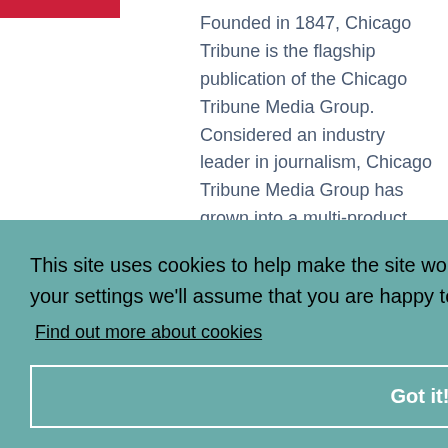Founded in 1847, Chicago Tribune is the flagship publication of the Chicago Tribune Media Group. Considered an industry leader in journalism, Chicago Tribune Media Group has grown into a multi-product, multi-channel news and information.
This site uses cookies to help make the site work better. If you continue without changing your settings we'll assume that you are happy to use all cookies on the i-coach website.
Find out more about cookies
Got it!